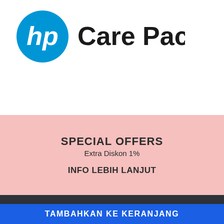[Figure (logo): HP Care Pack logo — blue HP circle logo on left and 'Care Pack' bold text on right]
SPECIAL OFFERS
Extra Diskon 1%
INFO LEBIH LANJUT
Rp57.092.870
TAMBAHKAN KE KERANJANG